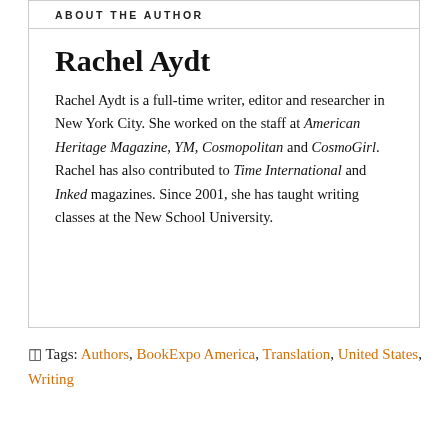ABOUT THE AUTHOR
Rachel Aydt
Rachel Aydt is a full-time writer, editor and researcher in New York City. She worked on the staff at American Heritage Magazine, YM, Cosmopolitan and CosmoGirl. Rachel has also contributed to Time International and Inked magazines. Since 2001, she has taught writing classes at the New School University.
Tags: Authors, BookExpo America, Translation, United States, Writing